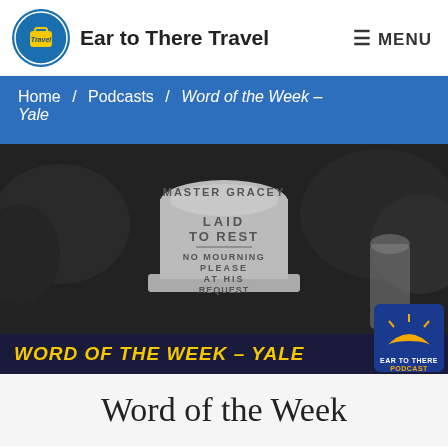Ear to There Travel | MENU
Home / Podcasts / Word of the Week – Yale
[Figure (photo): Black and white photo of a gravestone reading 'MASTER GRACEY LAID TO REST NO MOURNING PLEASE AT HIS REQUEST' with an Ear to There Podcast badge overlay and yellow text banner reading 'WORD OF THE WEEK - YALE']
Word of the Week